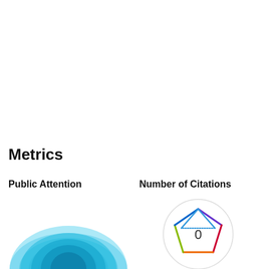Metrics
Public Attention
[Figure (other): Public Attention visualization: layered blue semi-circular wave/hill shape in shades of sky blue and teal, representing public attention metric]
Number of Citations
[Figure (radar-chart): Number of Citations radar/spider chart showing a pentagon-like colored outline shape with value 0 in the center, outlined in a rainbow gradient from blue at top through purple, red, orange, yellow-green and back]